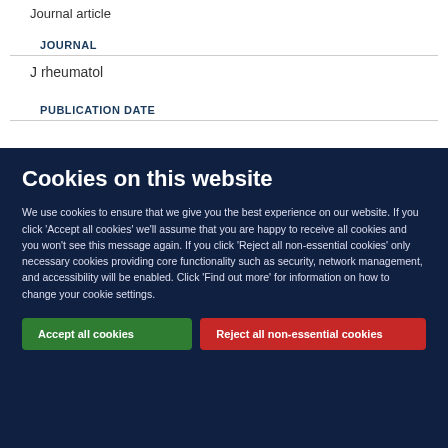Journal article
JOURNAL
J rheumatol
PUBLICATION DATE
Cookies on this website
We use cookies to ensure that we give you the best experience on our website. If you click 'Accept all cookies' we'll assume that you are happy to receive all cookies and you won't see this message again. If you click 'Reject all non-essential cookies' only necessary cookies providing core functionality such as security, network management, and accessibility will be enabled. Click 'Find out more' for information on how to change your cookie settings.
Accept all cookies
Reject all non-essential cookies